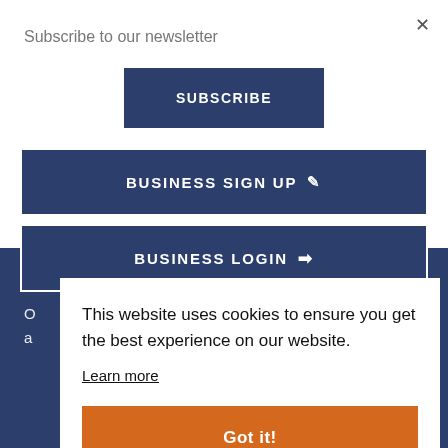Subscribe to our newsletter
SUBSCRIBE
BUSINESS SIGN UP
BUSINESS LOGIN
O... a...
This website uses cookies to ensure you get the best experience on our website.
Learn more
Got it!